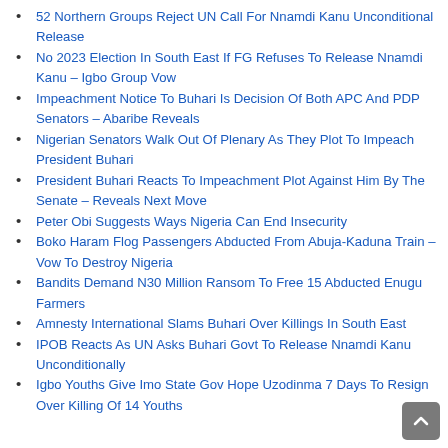52 Northern Groups Reject UN Call For Nnamdi Kanu Unconditional Release
No 2023 Election In South East If FG Refuses To Release Nnamdi Kanu – Igbo Group Vow
Impeachment Notice To Buhari Is Decision Of Both APC And PDP Senators – Abaribe Reveals
Nigerian Senators Walk Out Of Plenary As They Plot To Impeach President Buhari
President Buhari Reacts To Impeachment Plot Against Him By The Senate – Reveals Next Move
Peter Obi Suggests Ways Nigeria Can End Insecurity
Boko Haram Flog Passengers Abducted From Abuja-Kaduna Train – Vow To Destroy Nigeria
Bandits Demand N30 Million Ransom To Free 15 Abducted Enugu Farmers
Amnesty International Slams Buhari Over Killings In South East
IPOB Reacts As UN Asks Buhari Govt To Release Nnamdi Kanu Unconditionally
Igbo Youths Give Imo State Gov Hope Uzodinma 7 Days To Resign Over Killing Of 14 Youths